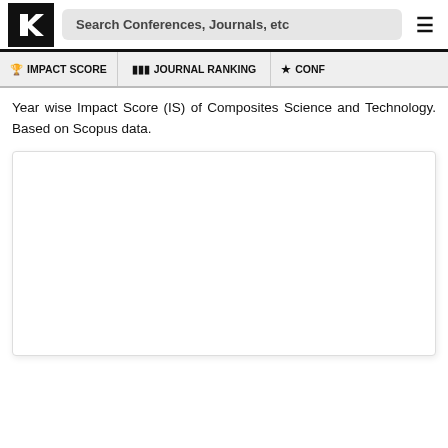Search Conferences, Journals, etc
🏆 IMPACT SCORE   📊 JOURNAL RANKING   ★ CONF
Year wise Impact Score (IS) of Composites Science and Technology. Based on Scopus data.
[Figure (other): Empty chart placeholder box for year-wise Impact Score chart]